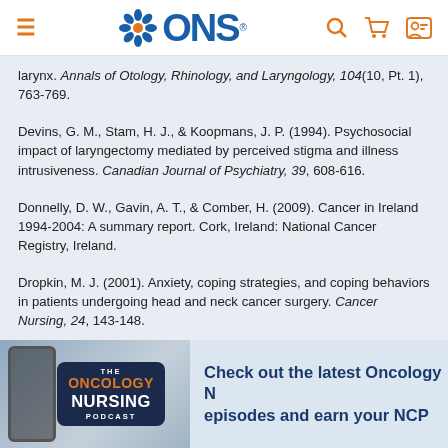ONS (Oncology Nursing Society) website header with logo, hamburger menu, search, cart, and account icons
larynx. Annals of Otology, Rhinology, and Laryngology, 104(10, Pt. 1), 763-769.
Devins, G. M., Stam, H. J., & Koopmans, J. P. (1994). Psychosocial impact of laryngectomy mediated by perceived stigma and illness intrusiveness. Canadian Journal of Psychiatry, 39, 608-616.
Donnelly, D. W., Gavin, A. T., & Comber, H. (2009). Cancer in Ireland 1994-2004: A summary report. Cork, Ireland: National Cancer Registry, Ireland.
Dropkin, M. J. (2001). Anxiety, coping strategies, and coping behaviors in patients undergoing head and neck cancer surgery. Cancer Nursing, 24, 143-148.
[Figure (illustration): ONS Oncology Nursing Podcast banner with podcast badge and promotional text about latest episodes and earning NCPD credit]